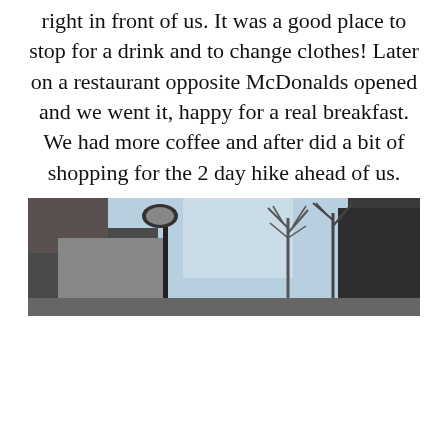right in front of us. It was a good place to stop for a drink and to change clothes! Later on a restaurant opposite McDonalds opened and we went it, happy for a real breakfast. We had more coffee and after did a bit of shopping for the 2 day hike ahead of us.
[Figure (photo): Street-level photo showing buildings and bare winter trees against a light blue sky]
פרטיות וקובצי Cookie. אתר זה משתמשי בקובצי Cookie. המשך השימוש באתר מהווה את הסכמה שלך לשימוש באלו. לקבלת מידע נוסף, כולל מידע על השליטה בקובצי Cookies, ניתן לעיין בעמוד: מדיניות קובצי ה-Cookie
להסכים ולסגור